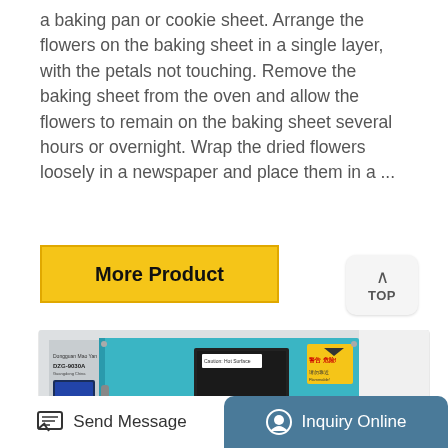a baking pan or cookie sheet. Arrange the flowers on the baking sheet in a single layer, with the petals not touching. Remove the baking sheet from the oven and allow the flowers to remain on the baking sheet several hours or overnight. Wrap the dried flowers loosely in a newspaper and place them in a ...
More Product
[Figure (other): Upward arrow icon with TOP label, rounded rectangle button]
[Figure (photo): Industrial laboratory drying oven with teal/blue door, digital control panel on left side, warning labels, model number DZG-9030A visible]
Send Message
Inquiry Online